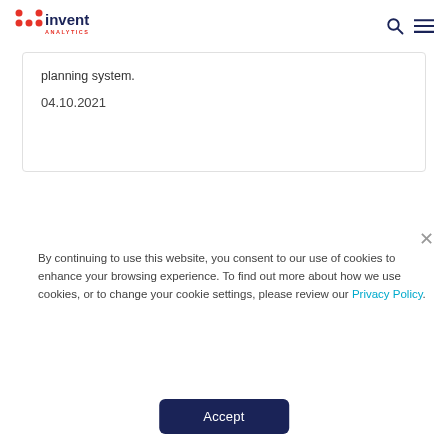Hinvent Analytics
planning system.
04.10.2021
By continuing to use this website, you consent to our use of cookies to enhance your browsing experience. To find out more about how we use cookies, or to change your cookie settings, please review our Privacy Policy.